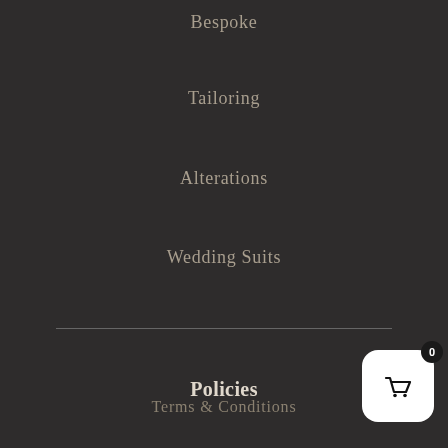Bespoke
Tailoring
Alterations
Wedding Suits
Policies
Terms & Conditions
Privacy Policy
Return & Refund Policy
Shipping & Delivery